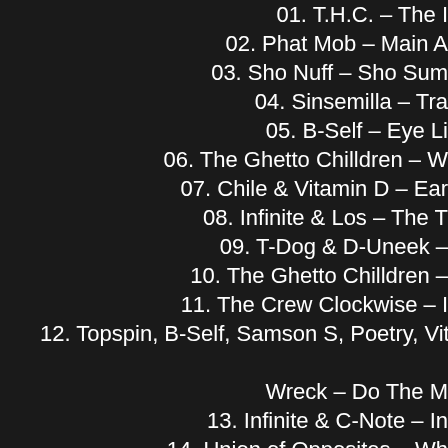01. T.H.C. – The I
02. Phat Mob – Main A
03. Sho Nuff – Sho Sum
04. Sinsemilla – Tra
05. B-Self – Eye Li
06. The Ghetto Chilldren – W
07. Chile & Vitamin D – Ear
08. Infinite & Los – The T
09. T-Dog & D-Uneek –
10. The Ghetto Chilldren –
11. The Crew Clockwise – I
12. Topspin, B-Self, Samson S, Poetry, Vitamin D, H-Bo Wreck – Do The M
13. Infinite & C-Note – In
14. Union of Opposites – Wh
15. Phat Mob – Wrong
16. Rob Brewer & Samson S -
17. Samson S & H-Bomb
18. T.H.C. – Temporary
19. Narcotik – Game Of
20. Shahrazad – Game
21. Wordsayer & Blah T